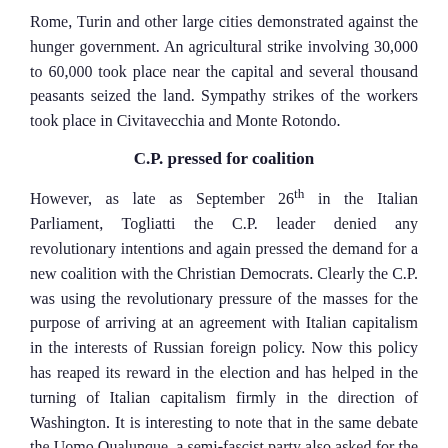Rome, Turin and other large cities demonstrated against the hunger government. An agricultural strike involving 30,000 to 60,000 took place near the capital and several thousand peasants seized the land. Sympathy strikes of the workers took place in Civitavecchia and Monte Rotondo.
C.P. pressed for coalition
However, as late as September 26th in the Italian Parliament, Togliatti the C.P. leader denied any revolutionary intentions and again pressed the demand for a new coalition with the Christian Democrats. Clearly the C.P. was using the revolutionary pressure of the masses for the purpose of arriving at an agreement with Italian capitalism in the interests of Russian foreign policy. Now this policy has reaped its reward in the election and has helped in the turning of Italian capitalism firmly in the direction of Washington. It is interesting to note that in the same debate the Uomo Qualunque, a semi-fascist party also asked for the co-operation of the Christian Democrats.
Thrown out by government